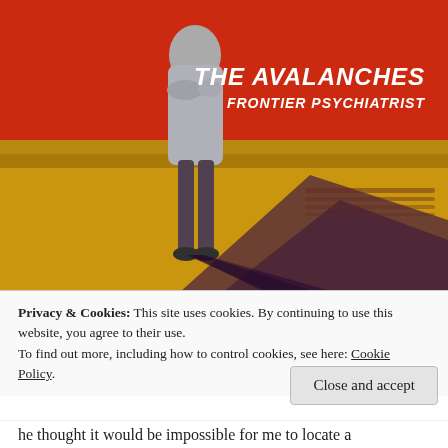[Figure (illustration): Album cover art for The Avalanches - Frontier Psychiatrist. Shows a figure standing on yellow/golden steps against a red background, with a long shadow cast behind. White italic text reads 'THE AVALANCHES' and 'FRONTIER PSYCHIATRIST' in the upper right.]
Privacy & Cookies: This site uses cookies. By continuing to use this website, you agree to their use.
To find out more, including how to control cookies, see here: Cookie Policy
Close and accept
he thought it would be impossible for me to locate a